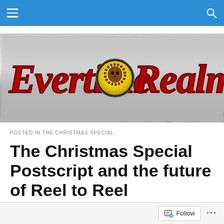Navigation bar with hamburger menu and search icon
[Figure (logo): Evertime Realms logo — stylized red fantasy text on a silver swirling metallic background with a yellow circular lion-face emblem in the center]
POSTED IN THE CHRISTMAS SPECIAL
The Christmas Special Postscript and the future of Reel to Reel
Well, my friends, we've come to the end of another Reel to